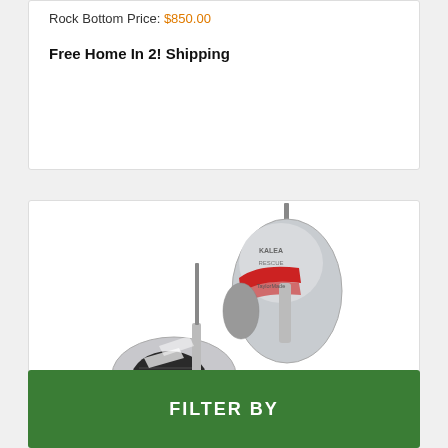Rock Bottom Price: $850.00
Free Home In 2! Shipping
[Figure (photo): Two TaylorMade golf clubs — an iron and a hybrid — displayed on white background]
FILTER BY